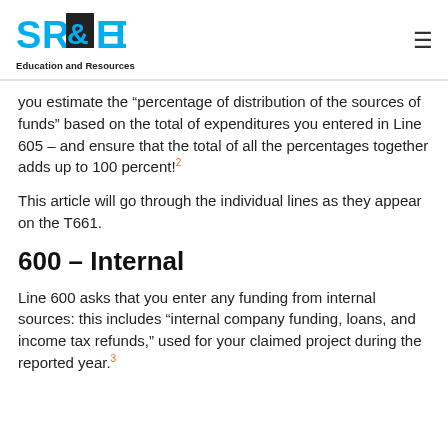SR&ED Education and Resources
you estimate the “percentage of distribution of the sources of funds” based on the total of expenditures you entered in Line 605 – and ensure that the total of all the percentages together adds up to 100 percent!2
This article will go through the individual lines as they appear on the T661.
600 – Internal
Line 600 asks that you enter any funding from internal sources: this includes “internal company funding, loans, and income tax refunds,” used for your claimed project during the reported year.3